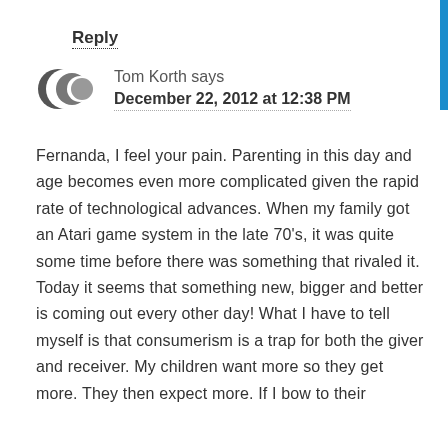Reply
Tom Korth says
December 22, 2012 at 12:38 PM
Fernanda, I feel your pain. Parenting in this day and age becomes even more complicated given the rapid rate of technological advances. When my family got an Atari game system in the late 70's, it was quite some time before there was something that rivaled it. Today it seems that something new, bigger and better is coming out every other day! What I have to tell myself is that consumerism is a trap for both the giver and receiver. My children want more so they get more. They then expect more. If I bow to their